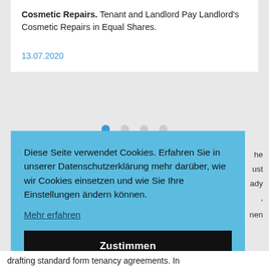Cosmetic Repairs. Tenant and Landlord Pay Landlord's Cosmetic Repairs in Equal Shares.
13.07.2020
[Figure (other): Carousel navigation dots, one active (blue) and three inactive (grey)]
Diese Seite verwendet Cookies. Erfahren Sie in unserer Datenschutzerklärung mehr darüber, wie wir Cookies einsetzen und wie Sie Ihre Einstellungen ändern können.
Mehr erfahren
Zustimmen
drafting standard form tenancy agreements. In